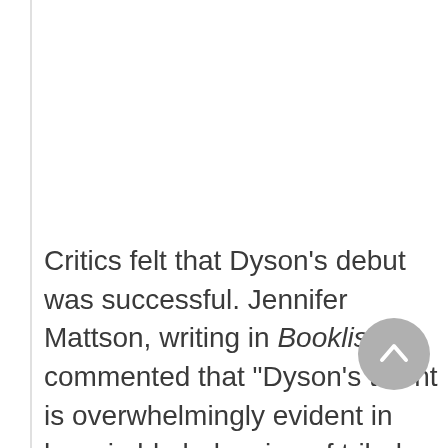Critics felt that Dyson's debut was successful. Jennifer Mattson, writing in Booklist, commented that "Dyson's talent is overwhelmingly evident in her nimble balancing of tribal perspectives and those of her canny, questing protagonist." Dyson "has created an